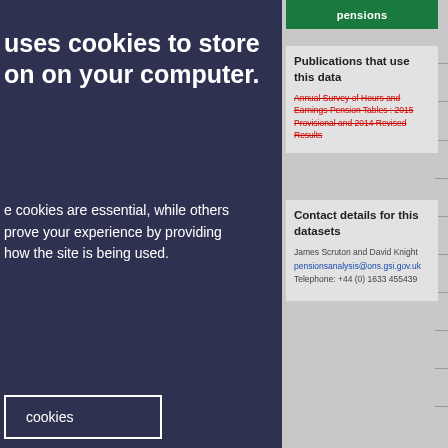pensions
Publications that use this data
Annual Survey of Hours and Earnings Pension Tables : 2015 Provisional and 2014 Revised Results
Contact details for this datasets
James Scruton and David Knight
pensionsanalysis@ons.gsi.gov.uk
Telephone: +44 (0) 1633 455439
uses cookies to store on on your computer.
e cookies are essential, while others prove your experience by providing how the site is being used.
cookies
t necessary cookies
nkies
able core functionality such